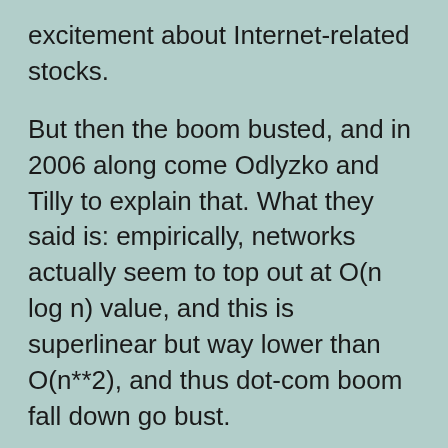excitement about Internet-related stocks.
But then the boom busted, and in 2006 along come Odlyzko and Tilly to explain that. What they said is: empirically, networks actually seem to top out at O(n log n) value, and this is superlinear but way lower than O(n**2), and thus dot-com boom fall down go bust.
You can read the Odlyzko/Tilly paper here. It's good; it's lucidly written and deserves its status as a seminal classic. The explanation of O(n log n) that the authors give is that in a world where not all connections have equal value,